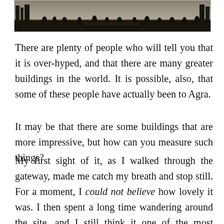[Figure (photo): A dark, crowd-filled outdoor scene, likely a monument or large public space, viewed from a distance. The image is mostly dark tones with silhouettes of people and trees visible.]
There are plenty of people who will tell you that it is over-hyped, and that there are many greater buildings in the world. It is possible, also, that some of these people have actually been to Agra.
It may be that there are some buildings that are more impressive, but how can you measure such things?
My first sight of it, as I walked through the gateway, made me catch my breath and stop still. For a moment, I could not believe how lovely it was. I then spent a long time wandering around the site, and I still think it one of the most beautiful and magnificent buildings that I h...